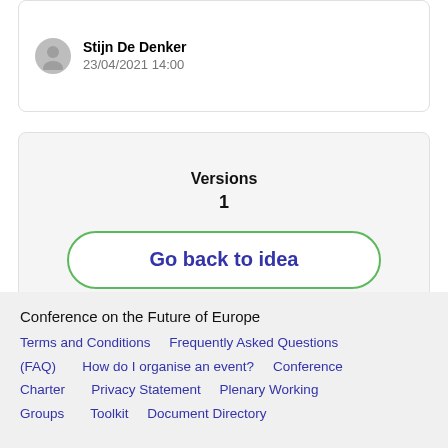Stijn De Denker
23/04/2021 14:00
Versions
1
Go back to idea
Conference on the Future of Europe
Terms and Conditions   Frequently Asked Questions (FAQ)   How do I organise an event?   Conference Charter   Privacy Statement   Plenary Working Groups   Toolkit   Document Directory